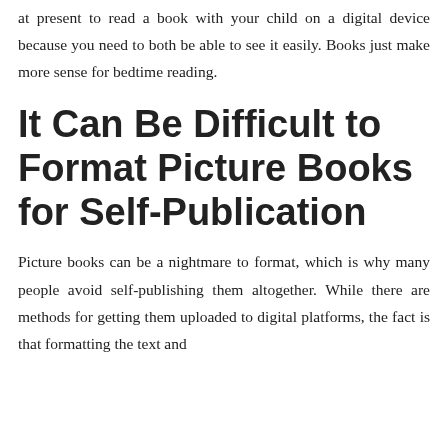at present to read a book with your child on a digital device because you need to both be able to see it easily. Books just make more sense for bedtime reading.
It Can Be Difficult to Format Picture Books for Self-Publication
Picture books can be a nightmare to format, which is why many people avoid self-publishing them altogether. While there are methods for getting them uploaded to digital platforms, the fact is that formatting the text and